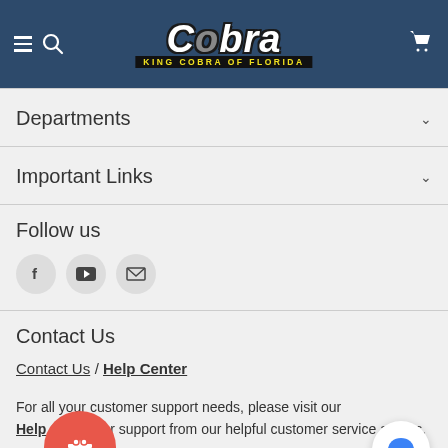Cobra - King Cobra of Florida
Departments
Important Links
Follow us
Contact Us
Contact Us / Help Center
For all your customer support needs, please visit our Help Center for support from our helpful customer service agents.